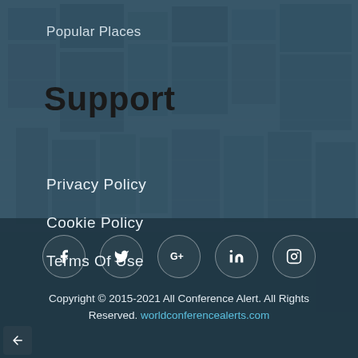Popular Places
Support
Privacy Policy
Cookie Policy
Terms Of Use
[Figure (infographic): Social media icon links: Facebook, Twitter, Google+, LinkedIn, Instagram — each in a circular border]
Copyright © 2015-2021 All Conference Alert. All Rights Reserved. worldconferencealerts.com